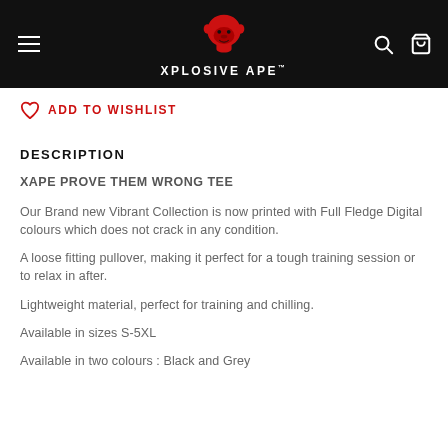XPLOSIVE APE
ADD TO WISHLIST
DESCRIPTION
XAPE PROVE THEM WRONG TEE
Our Brand new Vibrant Collection is now printed with Full Fledge Digital colours which does not crack in any condition.
A loose fitting pullover, making it perfect for a tough training session or to relax in after.
Lightweight material, perfect for training and chilling.
Available in sizes S-5XL
Available in two colours : Black and Grey